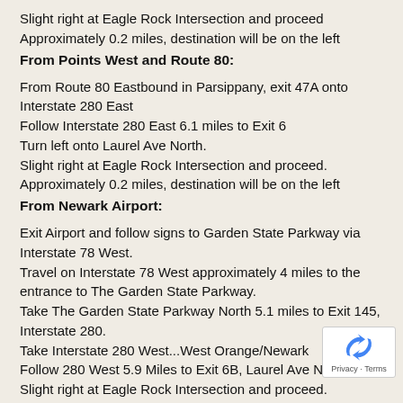Slight right at Eagle Rock Intersection and proceed Approximately 0.2 miles, destination will be on the left
From Points West and Route 80:
From Route 80 Eastbound in Parsippany, exit 47A onto Interstate 280 East
Follow Interstate 280 East 6.1 miles to Exit 6
Turn left onto Laurel Ave North.
Slight right at Eagle Rock Intersection and proceed.
Approximately 0.2 miles, destination will be on the left
From Newark Airport:
Exit Airport and follow signs to Garden State Parkway via Interstate 78 West.
Travel on Interstate 78 West approximately 4 miles to the entrance to The Garden State Parkway.
Take The Garden State Parkway North 5.1 miles to Exit 145, Interstate 280.
Take Interstate 280 West...West Orange/Newark
Follow 280 West 5.9 Miles to Exit 6B, Laurel Ave North
Slight right at Eagle Rock Intersection and proceed.
Approximately 0.2 miles, destination will be on the left